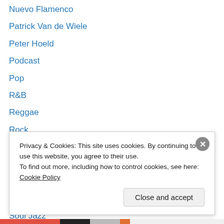Nuevo Flamenco
Patrick Van de Wiele
Peter Hoeld
Podcast
Pop
R&B
Reggae
Rock
Salsa
Sam McNally
Smooth Jazz
Soul
Soul Jazz
Tom Brady
Privacy & Cookies: This site uses cookies. By continuing to use this website, you agree to their use.
To find out more, including how to control cookies, see here: Cookie Policy